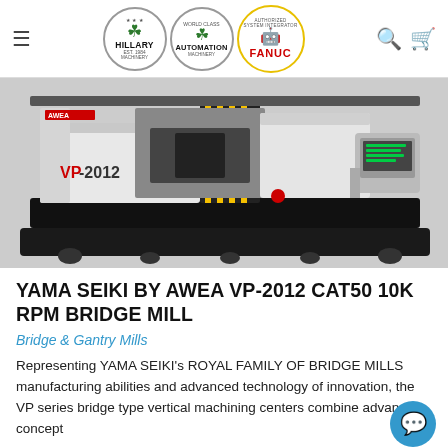Hillary Machinery / World Class Automation / FANUC Authorized System Integrator — navigation header
[Figure (photo): YAMA SEIKI by AWEA VP-2012 CAT50 10K RPM Bridge Mill CNC machining center in white and black. Machine labeled 'VP-2012' on the body with yellow/black safety striping on the column, and a CNC control panel on the right side.]
YAMA SEIKI BY AWEA VP-2012 CAT50 10K RPM BRIDGE MILL
Bridge & Gantry Mills
Representing YAMA SEIKI's ROYAL FAMILY OF BRIDGE MILLS manufacturing abilities and advanced technology of innovation, the VP series bridge type vertical machining centers combine advanced concept